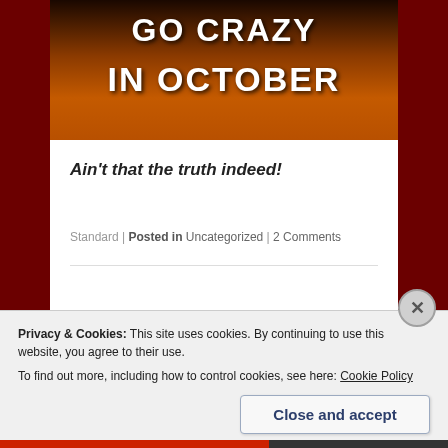[Figure (photo): Promotional image with dark orange/brown background and bold white text reading 'GO CRAZY IN OCTOBER']
Ain't that the truth indeed!
Standard | Posted in Uncategorized | 2 Comments
Privacy & Cookies: This site uses cookies. By continuing to use this website, you agree to their use.
To find out more, including how to control cookies, see here: Cookie Policy
Close and accept